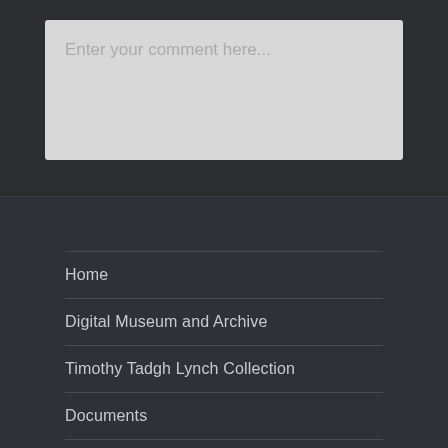[Figure (screenshot): Comment input text area with placeholder text 'Enter your comment here...' on a dark background]
Home
Digital Museum and Archive
Timothy Tadgh Lynch Collection
Documents